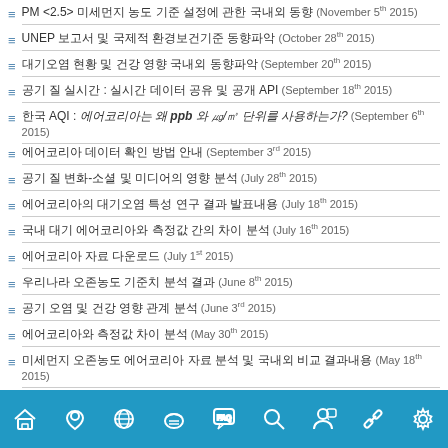PM <2.5> 미세먼지 농도 기준 설정에 관한 국내외 동향 (November 5th 2015)
UNEP 보고서 및 국제적 환경보건기준 동향파악 (October 28th 2015)
대기오염 현황 및 건강 영향 국내외 동향파악 (September 20th 2015)
공기 질 실시간 : 실시간 데이터 공유 및 공개 API (September 18th 2015)
한국 AQI : 에어코리아는 왜 ppb 와 ㎍/㎥ 단위를 사용하는가? (September 6th 2015)
에어코리아 데이터 확인 방법 안내 (September 3rd 2015)
공기 질 변화-소셜 및 미디어의 영향 분석 (July 28th 2015)
에어코리아의 대기오염 특성 연구 결과 발표내용 (July 18th 2015)
국내 대기 에어코리아와 측정값 간의 차이 분석 (July 16th 2015)
에어코리아 자료 다운로드 (July 1st 2015)
우리나라 오존농도 기준치 분석 결과 (June 8th 2015)
공기 오염 및 건강 영향 관계 분석 (June 3rd 2015)
에어코리아와 측정값 차이 분석 (May 30th 2015)
미세먼지 오존농도 에어코리아 자료 분석 및 국내외 비교 결과내용 (May 18th 2015)
국내 미세먼지 : 2014 연간 자료 동향 분석 (May 16th 2015)
우리나라 대기 질 현황 및 동향 분석 (May 15th 2015)